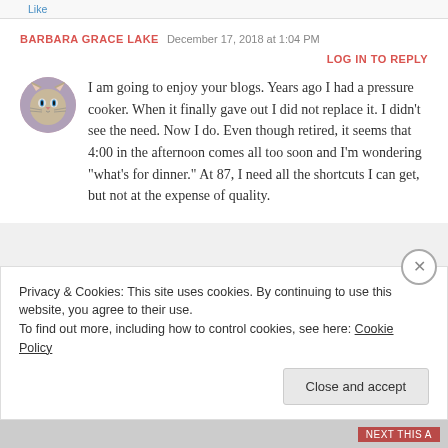Like
BARBARA GRACE LAKE  December 17, 2018 at 1:04 PM  LOG IN TO REPLY
I am going to enjoy your blogs. Years ago I had a pressure cooker. When it finally gave out I did not replace it. I didn't see the need. Now I do. Even though retired, it seems that 4:00 in the afternoon comes all too soon and I'm wondering "what's for dinner." At 87, I need all the shortcuts I can get, but not at the expense of quality.
Privacy & Cookies: This site uses cookies. By continuing to use this website, you agree to their use.
To find out more, including how to control cookies, see here: Cookie Policy
Close and accept
NEXT THIS A